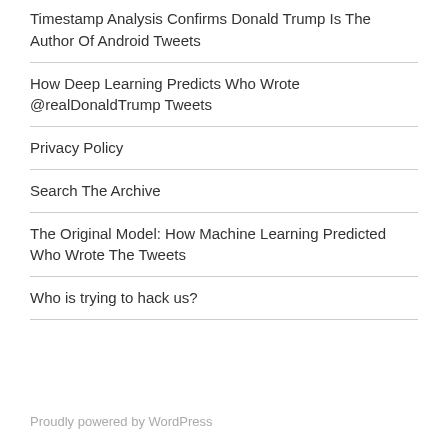Timestamp Analysis Confirms Donald Trump Is The Author Of Android Tweets
How Deep Learning Predicts Who Wrote @realDonaldTrump Tweets
Privacy Policy
Search The Archive
The Original Model: How Machine Learning Predicted Who Wrote The Tweets
Who is trying to hack us?
Proudly powered by WordPress